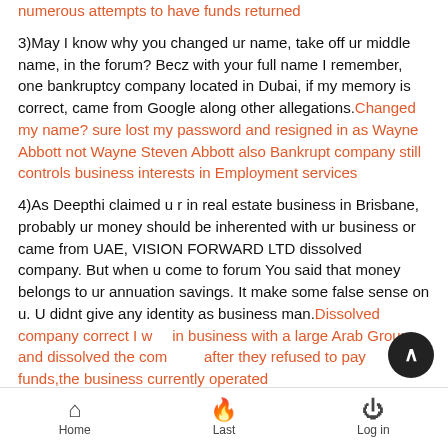numerous attempts to have funds returned
3)May I know why you changed ur name, take off ur middle name, in the forum? Becz with your full name I remember, one bankruptcy company located in Dubai, if my memory is correct, came from Google along other allegations. Changed my name? sure lost my password and resigned in as Wayne Abbott not Wayne Steven Abbott also Bankrupt company still controls business interests in Employment services
4)As Deepthi claimed u r in real estate business in Brisbane, probably ur money should be inherented with ur business or came from UAE, VISION FORWARD LTD dissolved company. But when u come to forum You said that money belongs to ur annuation savings. It make some false sense on u. U didnt give any identity as business man. Dissolved company correct I was in business with a large Arab Group and dissolved the company after they refused to pay funds,the business currently operated
Home | Last | Log in